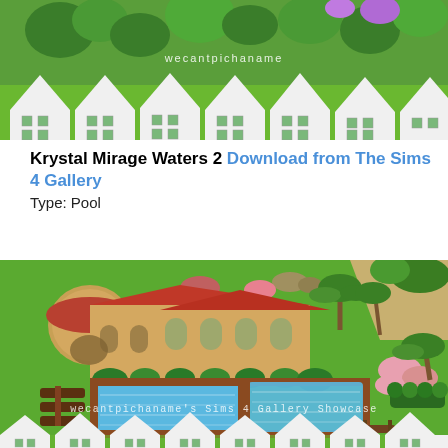[Figure (screenshot): Top screenshot from The Sims 4 showing a neighborhood scene with white house facades and greenery, watermark text 'wecantpichaname' visible]
Krystal Mirage Waters 2 Download from The Sims 4 Gallery
Type: Pool
[Figure (screenshot): Main screenshot of Krystal Mirage Waters 2 Sims 4 build - Mediterranean-style villa with terracotta roof tiles, two blue swimming pools, outdoor seating area, surrounded by green lawn and trees. Watermark 'wecantpichaname's Sims 4 Gallery Showcase' visible at bottom.]